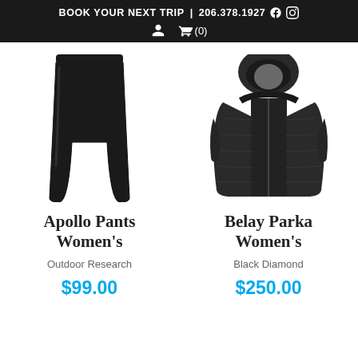BOOK YOUR NEXT TRIP | 206.378.1927
[Figure (photo): Black women's Apollo Pants from Outdoor Research, shown flat on white background]
[Figure (photo): Black women's Belay Parka from Black Diamond, shown on model torso, dark puffy insulated jacket with hood]
Apollo Pants Women's
Outdoor Research
$99.00
Belay Parka Women's
Black Diamond
$250.00